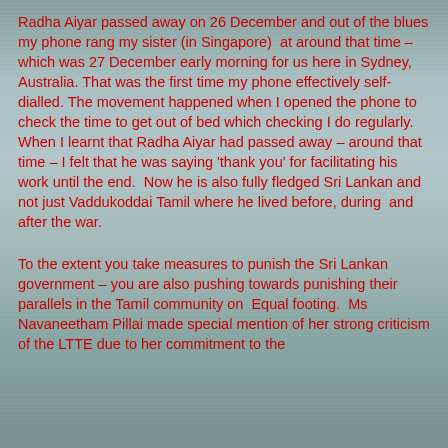Radha Aiyar passed away on 26 December and out of the blues my phone rang my sister (in Singapore)  at around that time – which was 27 December early morning for us here in Sydney, Australia. That was the first time my phone effectively self-dialled. The movement happened when I opened the phone to check the time to get out of bed which checking I do regularly. When I learnt that Radha Aiyar had passed away – around that time – I felt that he was saying 'thank you' for facilitating his work until the end.  Now he is also fully fledged Sri Lankan and not just Vaddukoddai Tamil where he lived before, during  and after the war.
To the extent you take measures to punish the Sri Lankan government – you are also pushing towards punishing their parallels in the Tamil community on  Equal footing.  Ms Navaneetham Pillai made special mention of her strong criticism of the LTTE due to her commitment to the